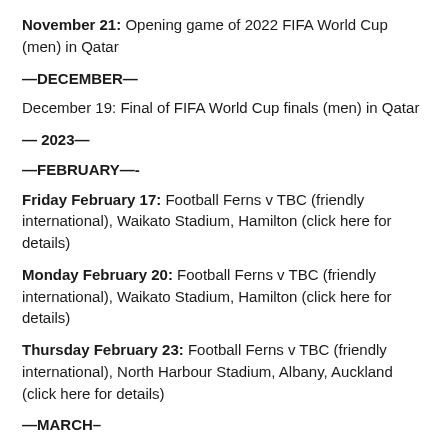November 21: Opening game of 2022 FIFA World Cup (men) in Qatar
—DECEMBER—
December 19: Final of FIFA World Cup finals (men) in Qatar
— 2023—
—FEBRUARY—-
Friday February 17: Football Ferns v TBC (friendly international), Waikato Stadium, Hamilton (click here for details)
Monday February 20: Football Ferns v TBC (friendly international), Waikato Stadium, Hamilton (click here for details)
Thursday February 23: Football Ferns v TBC (friendly international), North Harbour Stadium, Albany, Auckland (click here for details)
—MARCH–
March 20-28, 2023: Two-match international window for the All Whites.
—MAY—